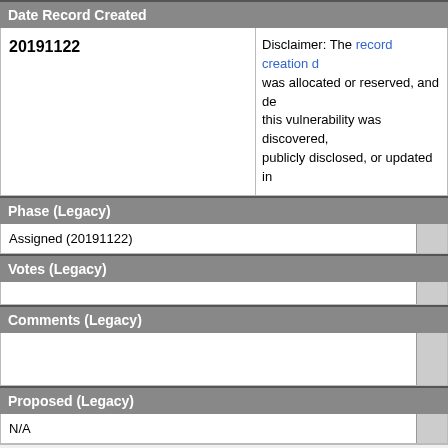Date Record Created
| 20191122 | Disclaimer: The record creation d... was allocated or reserved, and de... this vulnerability was discovered, ... publicly disclosed, or updated in ... |
Phase (Legacy)
| Assigned (20191122) |  |
Votes (Legacy)
|  |  |
Comments (Legacy)
|  |  |
Proposed (Legacy)
| N/A |  |
This is a record on the CVE List, which provides common identifiers for pu... vulnerabilities.
SEARCH CVE USING KEYWORDS:
You can also search by reference using the CVE Reference Maps.
For More Information: CVE Request Web Form (select "Other"...
BACK TO TOP